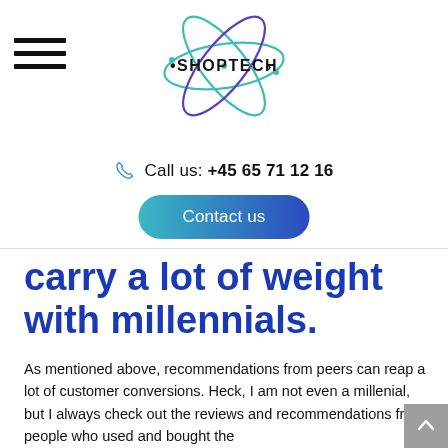SHOPTECH — Call us: +45 65 71 12 16 — Contact us
carry a lot of weight with millennials.
As mentioned above, recommendations from peers can reap a lot of customer conversions. Heck, I am not even a millenial, but I always check out the reviews and recommendations from people who used and bought the